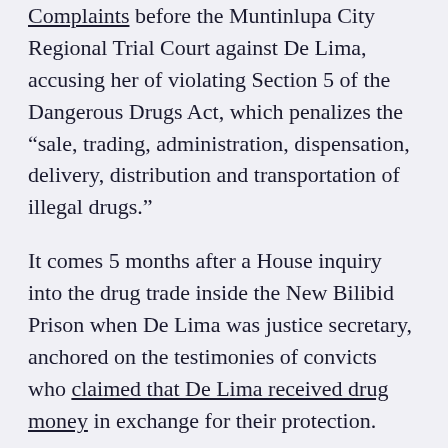Complaints before the Muntinlupa City Regional Trial Court against De Lima, accusing her of violating Section 5 of the Dangerous Drugs Act, which penalizes the “sale, trading, administration, dispensation, delivery, distribution and transportation of illegal drugs.”
It comes 5 months after a House inquiry into the drug trade inside the New Bilibid Prison when De Lima was justice secretary, anchored on the testimonies of convicts who claimed that De Lima received drug money in exchange for their protection.
Drug charges against some of the convicts were dropped after they were tapped to become state witnesses in the case against De Lima.
De Lima has denied the charges, saying they